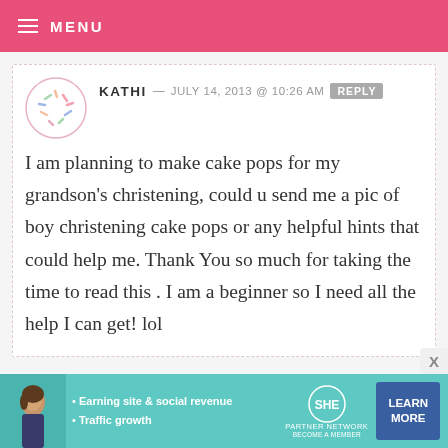MENU
KATHI — JULY 14, 2013 @ 10:26 AM REPLY
I am planning to make cake pops for my grandson's christening, could u send me a pic of boy christening cake pops or any helpful hints that could help me. Thank You so much for taking the time to read this . I am a beginner so I need all the help I can get! lol
[Figure (infographic): Teal advertisement banner for SHE Media Partner Network with woman photo, bullet points 'Earning site & social revenue' and 'Traffic growth', SHE logo, and 'LEARN MORE' button]